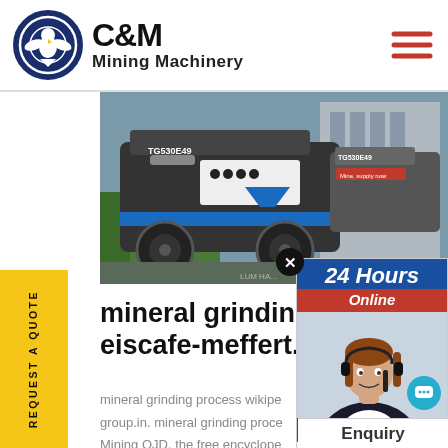[Figure (logo): C&M Mining Machinery logo with eagle gear icon in dark blue circle]
[Figure (photo): Large mobile mining/grinding machine (TG530E4) on a job site]
REQUEST A QUOTE
mineral grinding proc eiscafe-meffert.de
mineral grinding process wikipe group.in. mineral grinding proce Mining QJD, the free encyclope
[Figure (infographic): 24 Hours Online banner with customer service agent and headset, Click to Chat button]
Enquiry